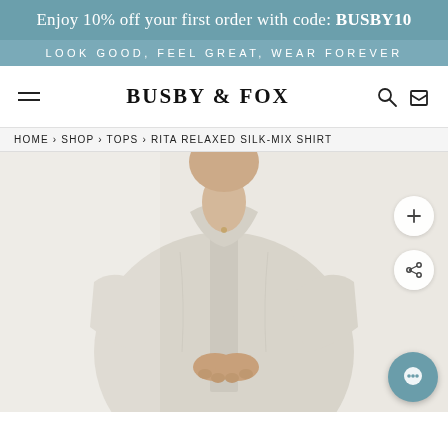Enjoy 10% off your first order with code: BUSBY10
LOOK GOOD, FEEL GREAT, WEAR FOREVER
BUSBY & FOX
HOME › SHOP › TOPS › RITA RELAXED SILK-MIX SHIRT
[Figure (photo): A woman wearing a relaxed silk-mix shirt in a light beige/stone color, photographed from the neck down, holding her hands clasped in front of her against a light background.]